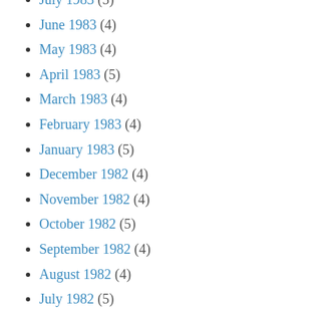July 1983 (5)
June 1983 (4)
May 1983 (4)
April 1983 (5)
March 1983 (4)
February 1983 (4)
January 1983 (5)
December 1982 (4)
November 1982 (4)
October 1982 (5)
September 1982 (4)
August 1982 (4)
July 1982 (5)
June 1982 (4)
May 1982 (6)
April 1982 (4)
March 1982 (4)